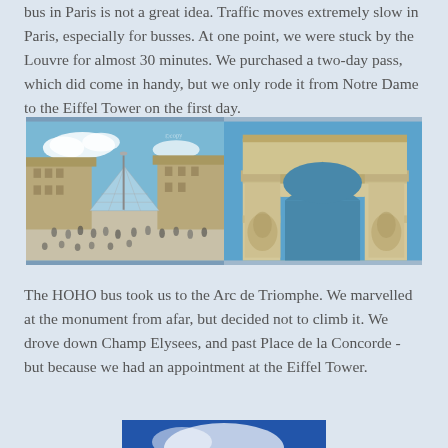bus in Paris is not a great idea. Traffic moves extremely slow in Paris, especially for busses. At one point, we were stuck by the Louvre for almost 30 minutes. We purchased a two-day pass, which did come in handy, but we only rode it from Notre Dame to the Eiffel Tower on the first day.
[Figure (photo): Two side-by-side photos: left shows the Louvre museum with its glass pyramid and crowd of tourists; right shows the Arc de Triomphe from below against a blue sky]
The HOHO bus took us to the Arc de Triomphe. We marvelled at the monument from afar, but decided not to climb it. We drove down Champ Elysees, and past Place de la Concorde - but because we had an appointment at the Eiffel Tower.
[Figure (photo): Partial photo at bottom of page showing blue sky with clouds, likely the Eiffel Tower area]